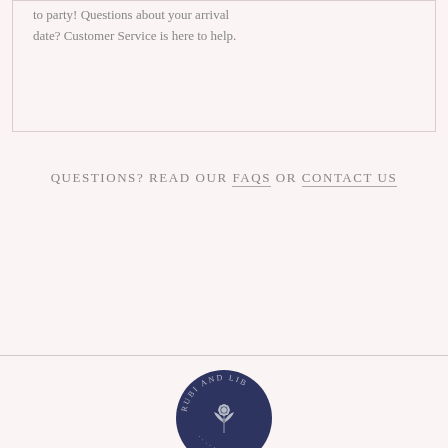to party! Questions about your arrival date? Customer Service is here to help.
QUESTIONS? READ OUR FAQS OR CONTACT US
[Figure (logo): Circular badge logo reading 'RUBI AND LIB' with floral illustration in navy blue]